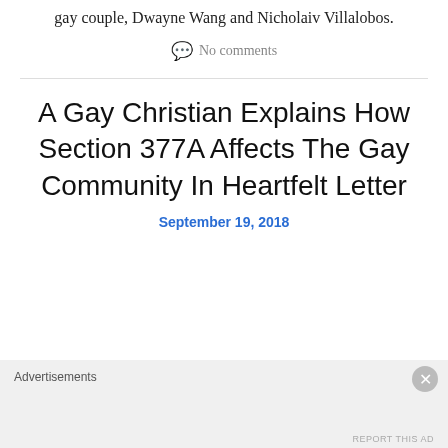gay couple, Dwayne Wang and Nicholaiv Villalobos.
No comments
A Gay Christian Explains How Section 377A Affects The Gay Community In Heartfelt Letter
September 19, 2018
Advertisements